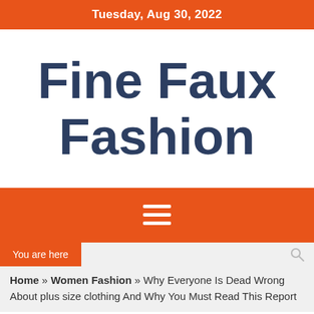Tuesday, Aug 30, 2022
Fine Faux Fashion
[Figure (other): Orange navigation bar with hamburger menu icon (three horizontal white lines)]
You are here
Home » Women Fashion » Why Everyone Is Dead Wrong About plus size clothing And Why You Must Read This Report